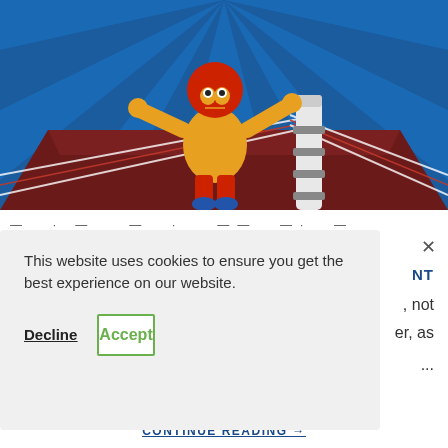[Figure (illustration): Cartoon illustration of a masked wrestler in yellow outfit jumping over a boxing ring rope post on a blue ray background with a dark red ring floor.]
- · — — - · —— -· -
NT
This website uses cookies to ensure you get the best experience on our website.
Decline
Accept
×
, not
er, as
...
CONTINUE READING →